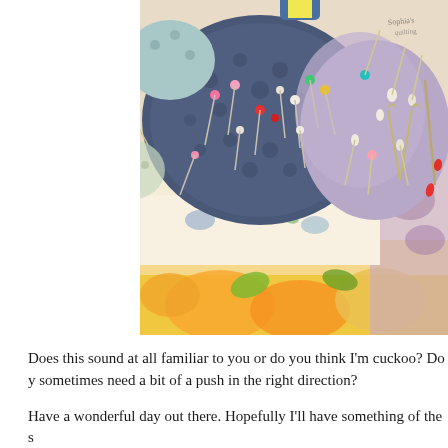[Figure (photo): A close-up photograph of colorful pincushions stacked on top of floral fabric pieces. The pincushions are filled with various sewing pins with colorful heads (pink, white, red, green, yellow) and large safety pins. The fabrics underneath feature floral patterns in orange, yellow, green, blue, and purple tones.]
Does this sound at all familiar to you or do you think I'm cuckoo? Do y sometimes need a bit of a push in the right direction?
Have a wonderful day out there. Hopefully I'll have something of the s